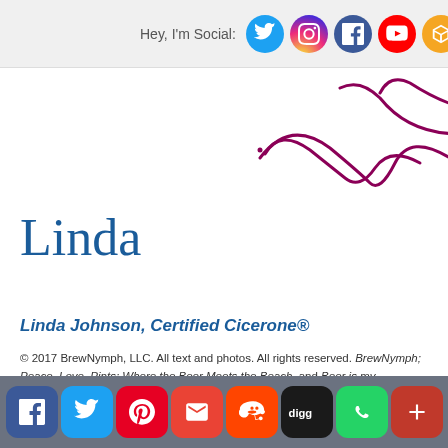Hey, I'm Social: [social media icons: Twitter, Instagram, Facebook, YouTube, Google+, Tumblr, Pinterest, RSS]
[Figure (illustration): Partial handwritten signature in dark magenta/crimson ink, showing cursive loops and curves]
Linda
Linda Johnson, Certified Cicerone®
© 2017 BrewNymph, LLC. All text and photos. All rights reserved. BrewNymph; Peace, Love, Pints; Where the Beer Meets the Beach, and Beer is my Trademark are federally-registered trademarks of BrewNymph, LLC; BeerSphere and I'm Fun; Deal With It! are trademarks of
[Share bar: Facebook, Twitter, Pinterest, Gmail, Reddit, Digg, WhatsApp, More]